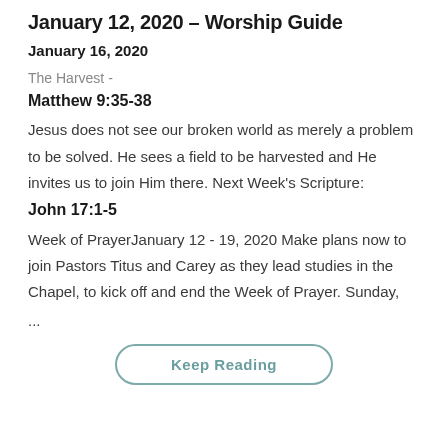January 12, 2020 – Worship Guide
January 16, 2020
The Harvest -
Matthew 9:35-38
Jesus does not see our broken world as merely a problem to be solved. He sees a field to be harvested and He invites us to join Him there. Next Week's Scripture:
John 17:1-5
Week of PrayerJanuary 12 - 19, 2020 Make plans now to join Pastors Titus and Carey as they lead studies in the Chapel, to kick off and end the Week of Prayer. Sunday, ...
Keep Reading